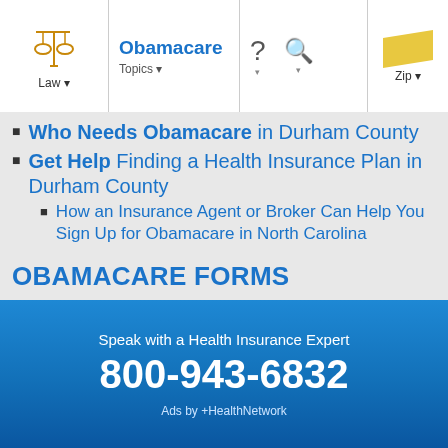Obamacare | Law | Topics | Zip
Who Needs Obamacare in Durham County
Get Help Finding a Health Insurance Plan in Durham County
How an Insurance Agent or Broker Can Help You Sign Up for Obamacare in North Carolina
OBAMACARE FORMS
Applying for Obamacare With a Paper Application
OBAMACARE RATES
How Much Does Obamacare Cost in Durham County, NC?
Speak with a Health Insurance Expert
800-943-6832
Ads by +HealthNetwork